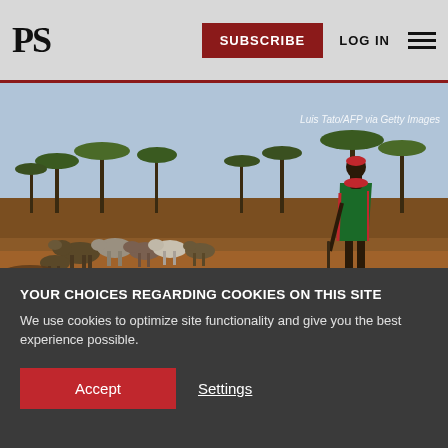PS | SUBSCRIBE | LOG IN
[Figure (photo): A Maasai herder in a green wrap and red necklace stands among a herd of goats in a dry, arid savanna landscape with acacia trees. Photo credit: Luis Tato/AFP via Getty Images]
Luis Tato/AFP via Getty Images
YOUR CHOICES REGARDING COOKIES ON THIS SITE
We use cookies to optimize site functionality and give you the best experience possible.
Accept   Settings